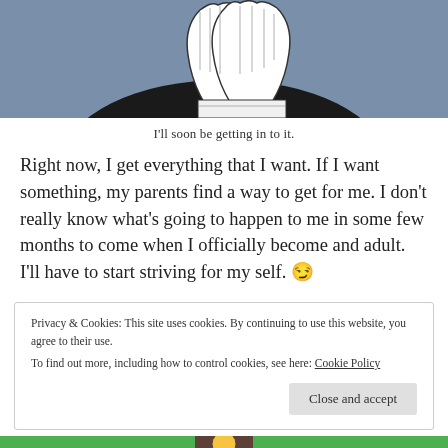[Figure (illustration): Black and white illustration of praying hands against a blue-grey background, partially cropped at top of page]
I'll soon be getting in to it.
Right now, I get everything that I want. If I want something, my parents find a way to get for me. I don't really know what's going to happen to me in some few months to come when I officially become and adult. I'll have to start striving for my self. 😏
Privacy & Cookies: This site uses cookies. By continuing to use this website, you agree to their use.
To find out more, including how to control cookies, see here: Cookie Policy
Close and accept
[Figure (illustration): Partial illustration visible at bottom showing a green background with a figure]